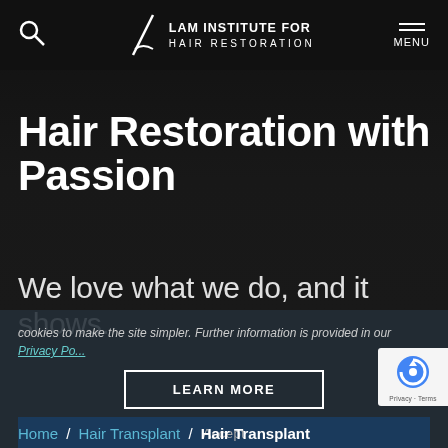LAM INSTITUTE FOR HAIR RESTORATION — MENU
Hair Restoration with Passion
We love what we do, and it shows.
cookies to make the site simpler. Further information is provided in our Privacy Po...
LEARN MORE
Accept
Home / Hair Transplant / Hair Transplant